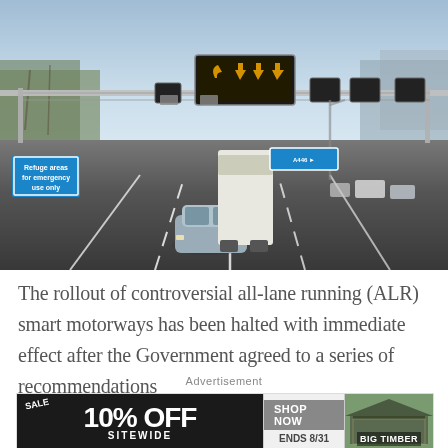[Figure (photo): A smart motorway in the UK with overhead electronic gantry signs showing lane directions and speed limits. A car is visible in the foreground on a multi-lane motorway. A blue sign reads 'Refuge areas for emergency use only'. Another blue information sign is visible on the right side. Trees line the road and other vehicles are visible in the distance.]
The rollout of controversial all-lane running (ALR) smart motorways has been halted with immediate effect after the Government agreed to a series of recommendations
Advertisement
[Figure (photo): Advertisement banner: SALE 10% OFF SITEWIDE | SHOP NOW ENDS 8/31 | BIG TIMBER]